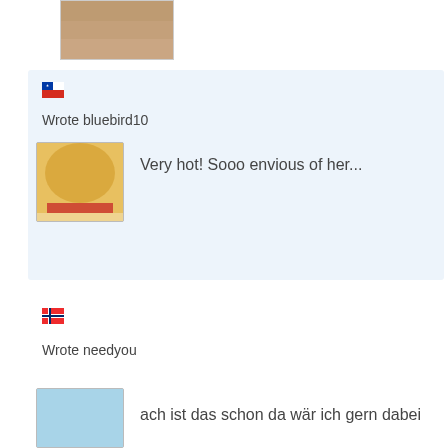[Figure (photo): Partial body photo at top of page]
[Figure (other): Chilean flag icon]
Wrote bluebird10
[Figure (photo): Avatar/profile image showing yellow/orange object]
Very hot! Sooo envious of her...
[Figure (other): Norwegian flag icon]
Wrote needyou
[Figure (photo): Avatar/profile image, blue background]
ach ist das schon da wär ich gern dabei